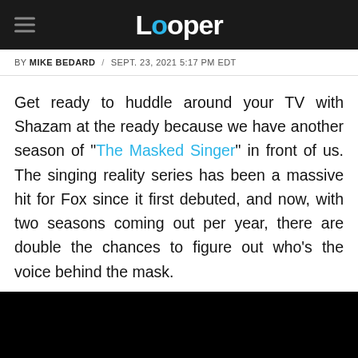Looper
BY MIKE BEDARD / SEPT. 23, 2021 5:17 PM EDT
Get ready to huddle around your TV with Shazam at the ready because we have another season of "The Masked Singer" in front of us. The singing reality series has been a massive hit for Fox since it first debuted, and now, with two seasons coming out per year, there are double the chances to figure out who's the voice behind the mask.
[Figure (other): Black video player block]